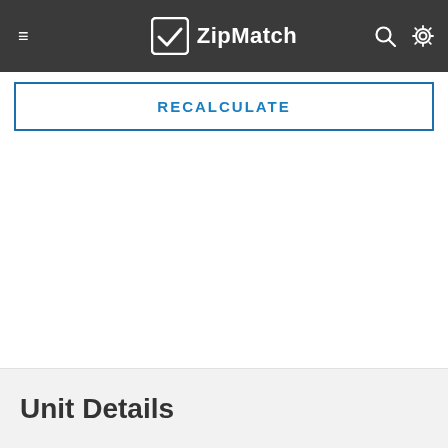ZipMatch
RECALCULATE
Unit Details